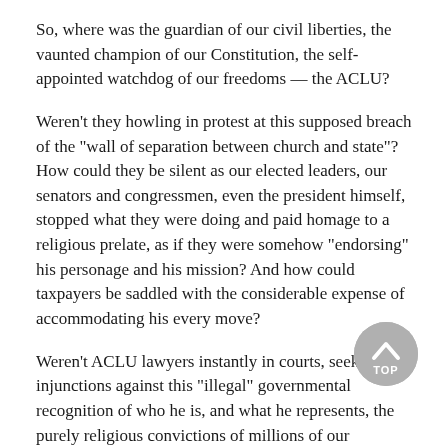So, where was the guardian of our civil liberties, the vaunted champion of our Constitution, the self-appointed watchdog of our freedoms — the ACLU?
Weren't they howling in protest at this supposed breach of the “wall of separation between church and state”? How could they be silent as our elected leaders, our senators and congressmen, even the president himself, stopped what they were doing and paid homage to a religious prelate, as if they were somehow “endorsing” his personage and his mission? And how could taxpayers be saddled with the considerable expense of accommodating his every move?
Weren’t ACLU lawyers instantly in courts, seeking injunctions against this “illegal” governmental recognition of who he is, and what he represents, the purely religious convictions of millions of our citizens?
[Figure (other): A circular grey button with an upward-pointing chevron arrow and the label TOP, used as a back-to-top navigation element.]